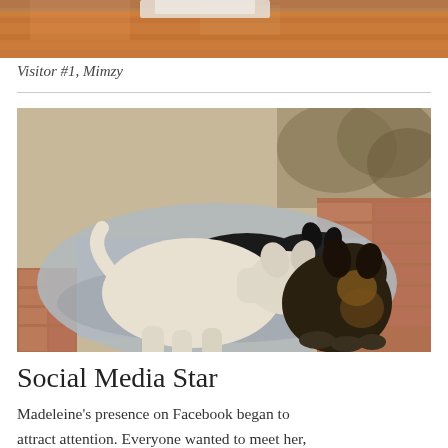[Figure (photo): Partial view of a dog on a wooden floor, cropped at the top of the page]
Visitor #1, Mimzy
[Figure (photo): Two puppies on a concrete slab outdoors — a white puppy standing and a black-and-tan puppy sitting, nuzzling each other, with brick pavers and trees visible in the background]
Social Media Star
Madeleine's presence on Facebook began to attract attention. Everyone wanted to meet her,